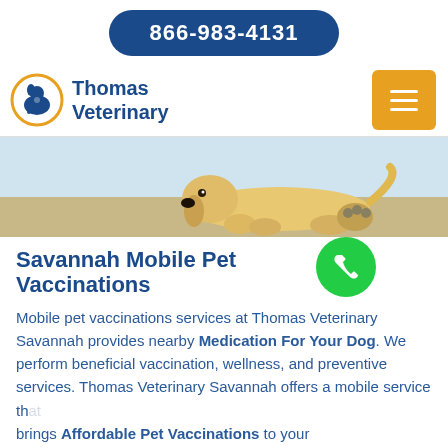866-983-4131
[Figure (logo): Thomas Veterinary logo with orange circle and blue dog/cat silhouette, brand name Thomas Veterinary in blue]
[Figure (photo): A golden labrador puppy lying down on a surface, looking sideways]
Savannah Mobile Pet Vaccinations
Mobile pet vaccinations services at Thomas Veterinary Savannah provides nearby Medication For Your Dog. We perform beneficial vaccination, wellness, and preventive services. Thomas Veterinary Savannah offers a mobile service that brings Affordable Pet Vaccinations to your